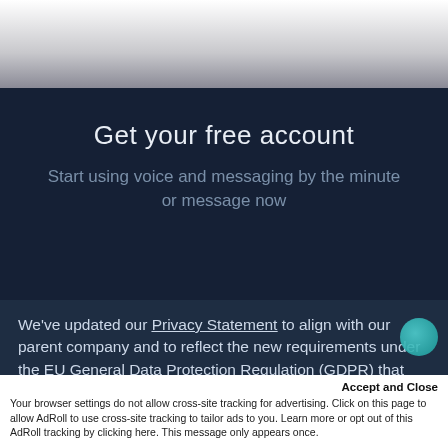Get your free account
Start using voice and messaging by the minute or message now
We've updated our Privacy Statement to align with our parent company and to reflect the new requirements under the EU General Data Protection Regulation (GDPR) that went into effect on May 25, 2018. By continuing to use our website, you agree that you understand these policies.
Accept and Close
Your browser settings do not allow cross-site tracking for advertising. Click on this page to allow AdRoll to use cross-site tracking to tailor ads to you. Learn more or opt out of this AdRoll tracking by clicking here. This message only appears once.